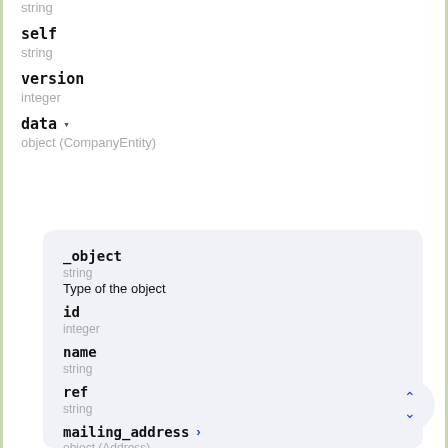string
self
string
version
integer
data ▾
object (CompanyEntity)
_object
string
Type of the object
id
integer
name
string
ref
string
mailing_address ›
object (Address)